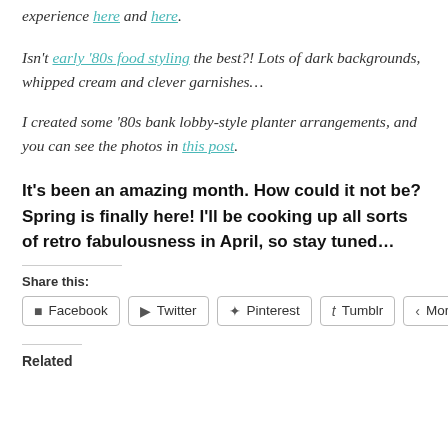experience here and here.
Isn't early '80s food styling the best?! Lots of dark backgrounds, whipped cream and clever garnishes…
I created some '80s bank lobby-style planter arrangements, and you can see the photos in this post.
It's been an amazing month. How could it not be? Spring is finally here! I'll be cooking up all sorts of retro fabulousness in April, so stay tuned…
Share this:
Facebook Twitter Pinterest Tumblr More
Related